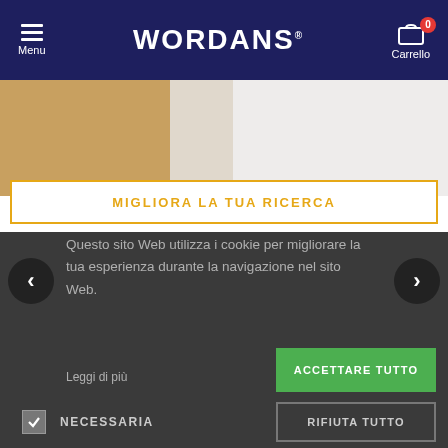[Figure (screenshot): Wordans e-commerce website header with navigation and cookie consent overlay]
Menu   WORDANS   Carrello 0
[Figure (photo): Hero image with a tan bag and white clothing items]
MIGLIORA LA TUA RICERCA
Questo sito Web utilizza i cookie per migliorare la tua esperienza durante la navigazione nel sito Web.
Leggi di più
ACCETTARE TUTTO
RIFIUTA TUTTO
NECESSARIA
RENDIMENTO
PUBBLICITARI
FUNZIONALE